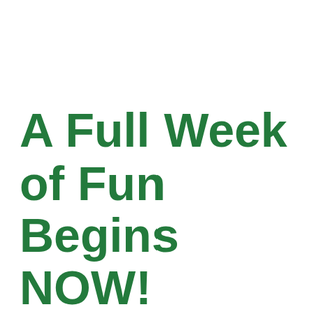A Full Week of Fun Begins NOW!